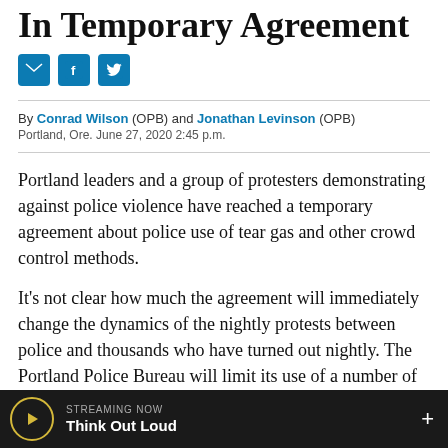In Temporary Agreement
By Conrad Wilson (OPB) and Jonathan Levinson (OPB)
Portland, Ore. June 27, 2020 2:45 p.m.
Portland leaders and a group of protesters demonstrating against police violence have reached a temporary agreement about police use of tear gas and other crowd control methods.
It's not clear how much the agreement will immediately change the dynamics of the nightly protests between police and thousands who have turned out nightly. The Portland Police Bureau will limit its use of a number of less-lethal devices
STREAMING NOW Think Out Loud